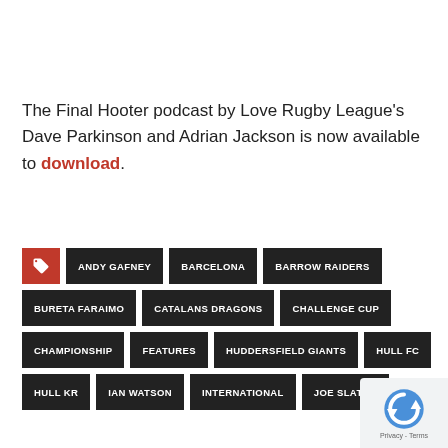The Final Hooter podcast by Love Rugby League's Dave Parkinson and Adrian Jackson is now available to download.
ANDY GAFNEY
BARCELONA
BARROW RAIDERS
BURETA FARAIMO
CATALANS DRAGONS
CHALLENGE CUP
CHAMPIONSHIP
FEATURES
HUDDERSFIELD GIANTS
HULL FC
HULL KR
IAN WATSON
INTERNATIONAL
JOE SLATER